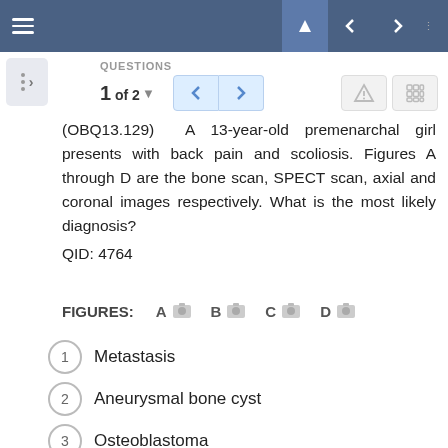Navigation bar with menu, back, forward controls
QUESTIONS
1 of 2
(OBQ13.129)  A  13-year-old  premenarchal  girl  presents  with  back  pain  and  scoliosis.  Figures  A  through  D  are  the  bone  scan,  SPECT  scan,  axial  and  coronal  images  respectively.  What  is  the  most  likely  diagnosis?
QID: 4764
FIGURES:   A   B   C   D
1  Metastasis
2  Aneurysmal bone cyst
3  Osteoblastoma
4  Osteoid osteoma